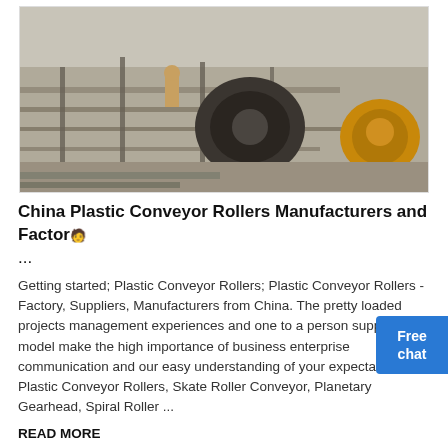[Figure (photo): Industrial conveyor roller machinery photograph, showing large industrial equipment with rollers and machinery components outdoors.]
China Plastic Conveyor Rollers Manufacturers and Factory ...
Getting started; Plastic Conveyor Rollers; Plastic Conveyor Rollers - Factory, Suppliers, Manufacturers from China. The pretty loaded projects management experiences and one to a person support model make the high importance of business enterprise communication and our easy understanding of your expectations for Plastic Conveyor Rollers, Skate Roller Conveyor, Planetary Gearhead, Spiral Roller ...
READ MORE
[Figure (photo): Street-level photograph showing Chinese storefront with red banners containing Chinese text characters.]